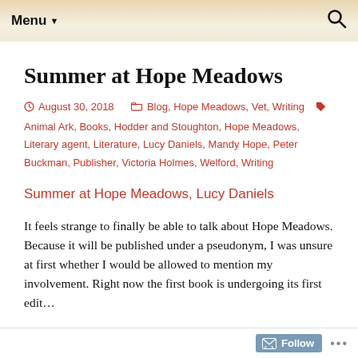Menu ▼
Summer at Hope Meadows
August 30, 2018   Blog, Hope Meadows, Vet, Writing   Animal Ark, Books, Hodder and Stoughton, Hope Meadows, Literary agent, Literature, Lucy Daniels, Mandy Hope, Peter Buckman, Publisher, Victoria Holmes, Welford, Writing
Summer at Hope Meadows, Lucy Daniels
It feels strange to finally be able to talk about Hope Meadows. Because it will be published under a pseudonym, I was unsure at first whether I would be allowed to mention my involvement. Right now the first book is undergoing its first edit…
Follow ...